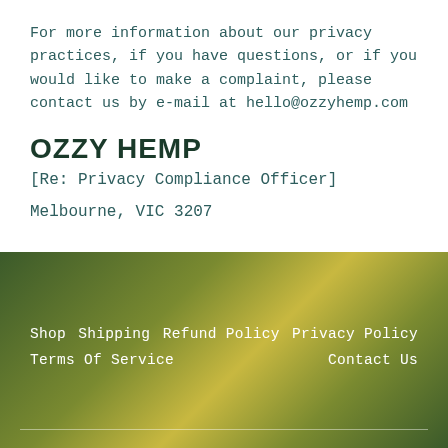For more information about our privacy practices, if you have questions, or if you would like to make a complaint, please contact us by e-mail at hello@ozzyhemp.com
OZZY HEMP
[Re: Privacy Compliance Officer]
Melbourne, VIC 3207
Shop  Shipping  Refund Policy  Privacy Policy  Terms Of Service  Contact Us